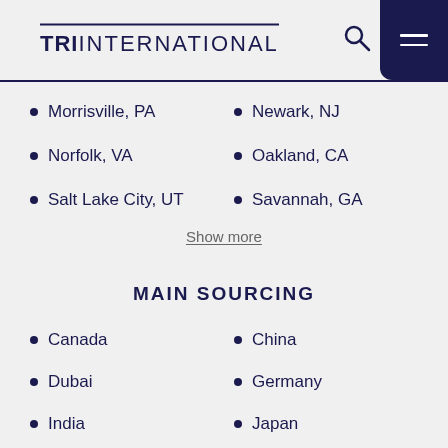TRI INTERNATIONAL
Morrisville, PA
Newark, NJ
Norfolk, VA
Oakland, CA
Salt Lake City, UT
Savannah, GA
Show more
MAIN SOURCING
Canada
China
Dubai
Germany
India
Japan
South Korea
Taiwan